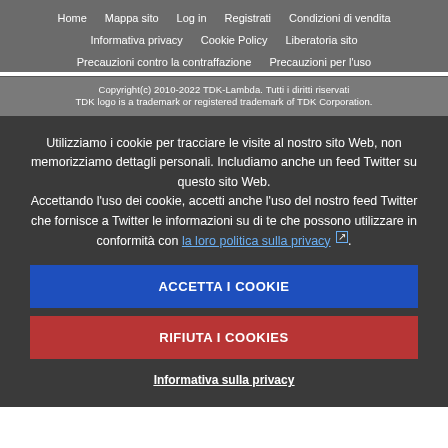Home  Mappa sito  Log in  Registrati  Condizioni di vendita  Informativa privacy  Cookie Policy  Liberatoria sito  Precauzioni contro la contraffazione  Precauzioni per l'uso
Copyright(c) 2010-2022 TDK-Lambda. Tutti i diritti riservati
TDK logo is a trademark or registered trademark of TDK Corporation.
Utilizziamo i cookie per tracciare le visite al nostro sito Web, non memorizziamo dettagli personali. Includiamo anche un feed Twitter su questo sito Web.
Accettando l'uso dei cookie, accetti anche l'uso del nostro feed Twitter che fornisce a Twitter le informazioni su di te che possono utilizzare in conformità con la loro politica sulla privacy ↗.
ACCETTA I COOKIE
RIFIUTA I COOKIES
Informativa sulla privacy